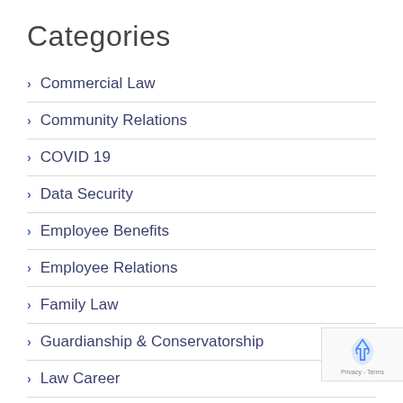Categories
Commercial Law
Community Relations
COVID 19
Data Security
Employee Benefits
Employee Relations
Family Law
Guardianship & Conservatorship
Law Career
Legal Resources (partial)